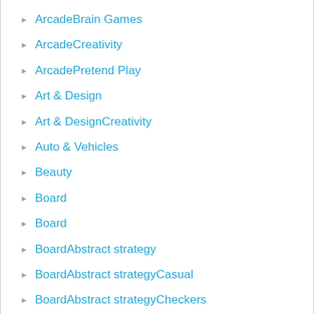ArcadeBrain Games
ArcadeCreativity
ArcadePretend Play
Art & Design
Art & DesignCreativity
Auto & Vehicles
Beauty
Board
Board
BoardAbstract strategy
BoardAbstract strategyCasual
BoardAbstract strategyCheckers
BoardAbstract strategyLudo